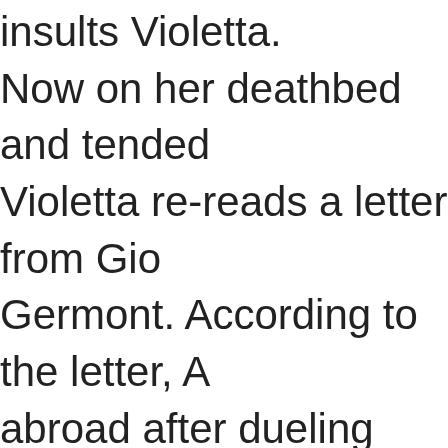insults Violetta. Now on her deathbed and tended Violetta re-reads a letter from Gio Germont. According to the letter, A abroad after dueling with the Baro wrote to him there, explaining Viol sacrifice. Alfredo arrives, asking fo and pledging eternal love. Violetta hope for their future together, but s